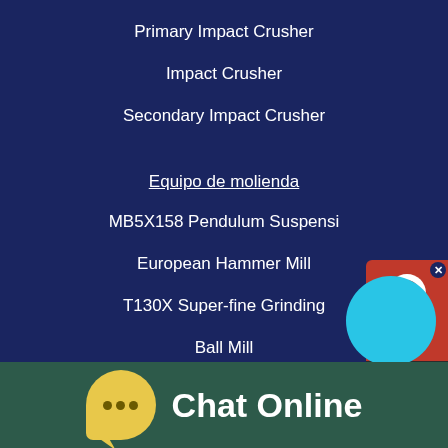Primary Impact Crusher
Impact Crusher
Secondary Impact Crusher
Equipo de molienda
MB5X158 Pendulum Suspensi
European Hammer Mill
T130X Super-fine Grinding
Ball Mill
Trapezium Mill
Micro Powder Mill
[Figure (screenshot): Chat Now widget with red background and support icon]
[Figure (illustration): Bright blue circle decorative element]
Chat Online